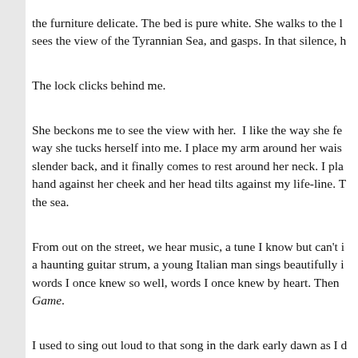the furniture delicate. The bed is pure white. She walks to the window, sees the view of the Tyrannian Sea, and gasps. In that silence, h
The lock clicks behind me.
She beckons me to see the view with her.  I like the way she fe- way she tucks herself into me. I place my arm around her wais- slender back, and it finally comes to rest around her neck. I pla- hand against her cheek and her head tilts against my life-line. T- the sea.
From out on the street, we hear music, a tune I know but can't i- a haunting guitar strum, a young Italian man sings beautifully i- words I once knew so well, words I once knew by heart. Then Game.
I used to sing out loud to that song in the dark early dawn as I d- Escort from my home to the hospital for early morning rounds the second time, and was then the father of not only Mark, by m- of two little girls with Helen, my second wife.
I heard the album for the first time at one of those neighborhoo-